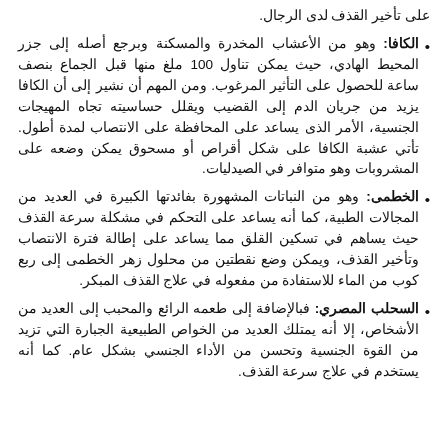على تأخير القذف لدى الرجال.
الكافا: وهو من الأعشاب المخدرة والمسكنة وبرجع أصله إلى جزر المحيط الهادي، حيث يمكن تناول 100 ملغ منها قبل الجماع بنصف ساعة للحصول على التأثير المرغوب. ومن المهم أن نشير إلى أن الكافا يزيد من جريان الدم إلى القضيب ويقلل حساسيته تجاه المهيجات الجنسية، الأمر الذى يساعد على المحافظة على الانتصاب لمدة أطول. تأتي عشبة الكافا على شكل أقراص أو مسحوق يمكن وضعه على المشروبات وهو متوافر في الصيدليات.
الخطمى: وهو من النباتات المشهورة بفائدتها الكبيرة في العديد من المجالات الطبية، كما أنه يساعد على التحكم في مشكلة سرعة القذف حيث يساهم في تسكين القلق مما يساعد على إطالة فترة الانتصاب وتأخير القذف، ويمكن وضع نقطتين من محلول زهر الخطمى إلى ربع كوب من الماء للاستفادة من مفعوله في علاج القذف المبكر.
السحلب المصري: فبالإضافة إلى طعمه الرائع والمحبب إلى العديد من الأشخاص، إلا أنه يمتلك العديد من الخواص الطبيعية الجبارة التي تزيد من القوة الجنسية وتحسن من الأداء الجنسي بشكل عام. كما أنه يستخدم في علاج سرعة القذف.